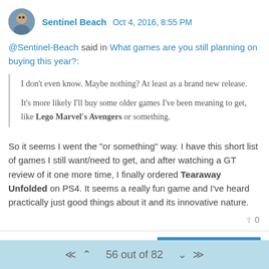Sentinel Beach  Oct 4, 2016, 8:55 PM
@Sentinel-Beach said in What games are you still planning on buying this year?:
I don't even know. Maybe nothing? At least as a brand new release.

It's more likely I'll buy some older games I've been meaning to get, like Lego Marvel's Avengers or something.
So it seems I went the "or something" way. I have this short list of games I still want/need to get, and after watching a GT review of it one more time, I finally ordered Tearaway Unfolded on PS4. It seems a really fun game and I've heard practically just good things about it and its innovative nature.
56 out of 82